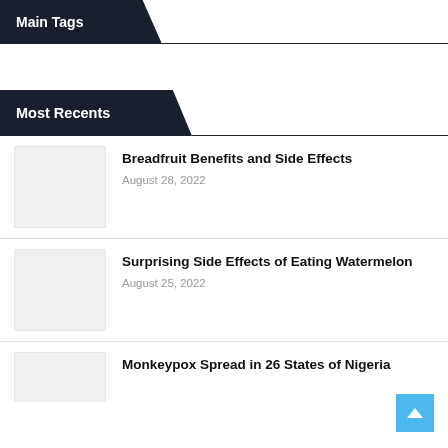Main Tags
Most Recents
Breadfruit Benefits and Side Effects
August 28, 2022
Surprising Side Effects of Eating Watermelon
August 25, 2022
Monkeypox Spread in 26 States of Nigeria